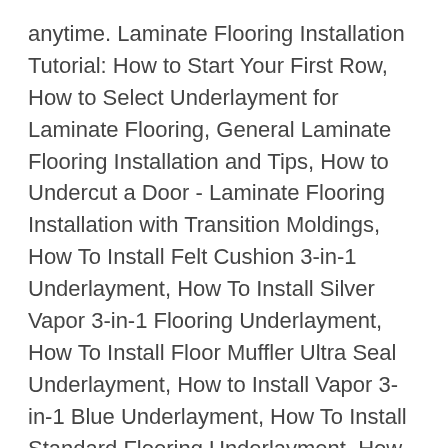anytime. Laminate Flooring Installation Tutorial: How to Start Your First Row, How to Select Underlayment for Laminate Flooring, General Laminate Flooring Installation and Tips, How to Undercut a Door - Laminate Flooring Installation with Transition Moldings, How To Install Felt Cushion 3-in-1 Underlayment, How To Install Silver Vapor 3-in-1 Flooring Underlayment, How To Install Floor Muffler Ultra Seal Underlayment, How to Install Vapor 3-in-1 Blue Underlayment, How To Install Standard Flooring Underlayment, How to Install Laminate Flooring Fearlessly, No public clipboards found for this slide, How to Install the Last Row of Laminate Flooring. 3.For the last row, place a laminate board on top of the second last row and place a third laminate board on top with the tongue touching the skirting and use the edge to mark the cutting line on the board beneath. Step 6. Laminate Flooring Installation Tutorial : How to install the last row